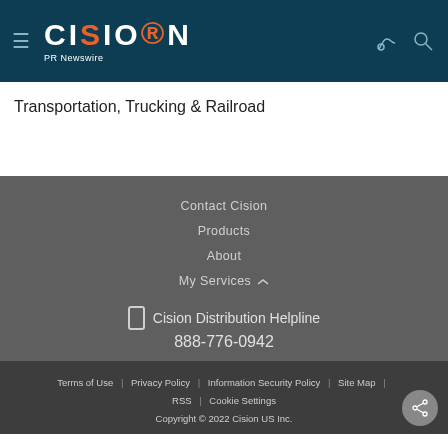CISION PR Newswire
Transportation, Trucking & Railroad
Contact Cision
Products
About
My Services
Cision Distribution Helpline
888-776-0942
Terms of Use | Privacy Policy | Information Security Policy | Site Map | RSS | Cookie Settings
Copyright © 2022 Cision US Inc.